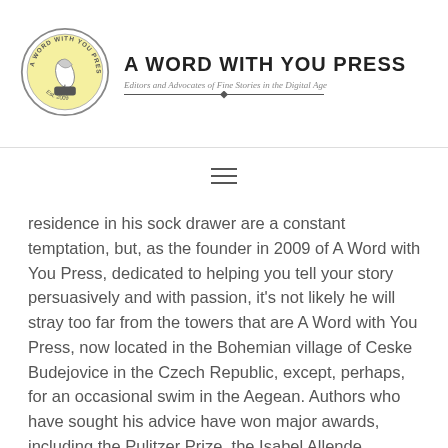A Word with You Press — Editors and Advocates of Fine Stories in the Digital Age
[Figure (logo): Circular logo for A Word with You Press with quill pen illustration, Est. 2009]
≡
residence in his sock drawer are a constant temptation, but, as the founder in 2009 of A Word with You Press, dedicated to helping you tell your story persuasively and with passion, it's not likely he will stray too far from the towers that are A Word with You Press, now located in the Bohemian village of Ceske Budejovice in the Czech Republic, except, perhaps, for an occasional swim in the Aegean. Authors who have sought his advice have won major awards, including the Pulitzer Prize, the Isabel Allende Miraposa Award for new fiction,